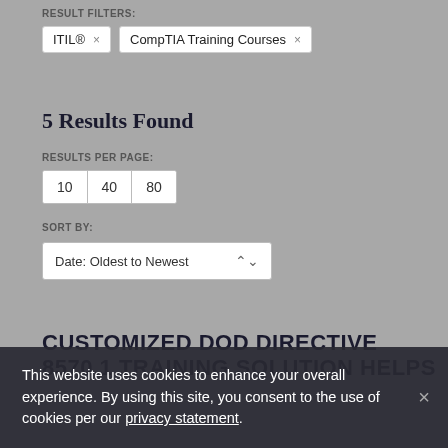RESULT FILTERS:
ITIL® ×    CompTIA Training Courses ×
5 Results Found
RESULTS PER PAGE:
10   40   80
SORT BY:
Date: Oldest to Newest
CUSTOMIZED DOD DIRECTIVE 8570.1 TRAINING SOLUTION HELPS
This website uses cookies to enhance your overall experience. By using this site, you consent to the use of cookies per our privacy statement.